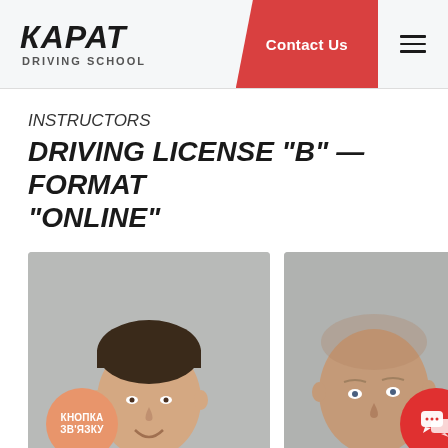КАРАТ DRIVING SCHOOL
INSTRUCTORS
DRIVING LICENSE "B" — FORMAT "ONLINE"
[Figure (photo): Photo of a male driving instructor smiling, with an orange circular badge reading КНОПКА ЗВ'ЯЗКУ]
[Figure (photo): Partial photo of a second bald male driving instructor, with a red circular chat icon badge]